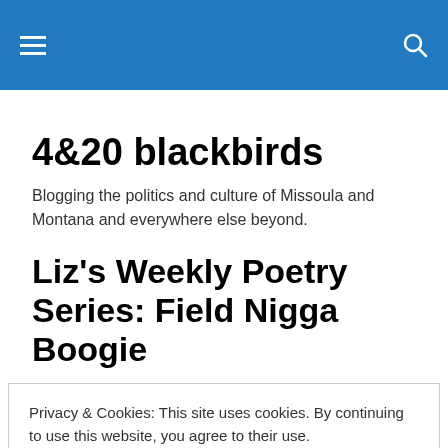4&20 blackbirds — site header with menu and search icons
4&20 blackbirds
Blogging the politics and culture of Missoula and Montana and everywhere else beyond.
Liz's Weekly Poetry Series: Field Nigga Boogie
Privacy & Cookies: This site uses cookies. By continuing to use this website, you agree to their use.
To find out more, including how to control cookies, see here: Cookie Policy
Close and accept
State of the Union: Flammable